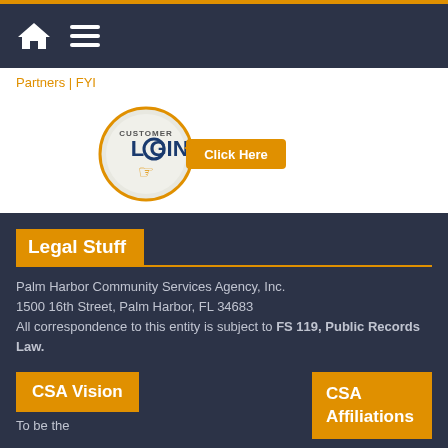Navigation bar with home and menu icons
Partners | FYI
[Figure (logo): Customer Login button — circular badge with 'CUSTOMER LOGIN' text and a pointing hand icon, with an orange 'Click Here' badge attached to the right]
Legal Stuff
Palm Harbor Community Services Agency, Inc.
1500 16th Street, Palm Harbor, FL 34683
All correspondence to this entity is subject to FS 119, Public Records Law.
CSA Vision
CSA Affiliations
To be the